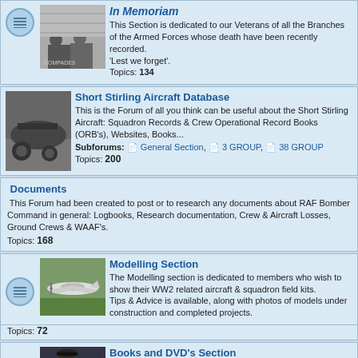In Memoriam
This Section is dedicated to our Veterans of all the Branches of the Armed Forces whose death have been recently recorded. 'Lest we forget'. Topics: 134
Short Stirling Aircraft Database
This is the Forum of all you think can be useful about the Short Stirling Aircraft: Squadron Records & Crew Operational Record Books (ORB's), Websites, Books... Subforums: General Section, 3 GROUP, 38 GROUP Topics: 200
Documents
This Forum had been created to post or to research any documents about RAF Bomber Command in general: Logbooks, Research documentation, Crew & Aircraft Losses, Ground Crews & WAAF's. Topics: 168
Modelling Section
The Modelling section is dedicated to members who wish to show their WW2 related aircraft & squadron field kits. Tips & Advice is available, along with photos of models under construction and completed projects. Topics: 72
Books and DVD's Section
This Section is dedicated to all the Books and DVD's about Bomber Command & related subjects (Personal opinions are not necessarily those of the Stirling Aircraft Society). Topics: 152